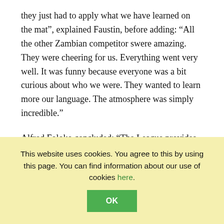they just had to apply what we have learned on the mat", explained Faustin, before adding: “All the other Zambian competitor swere amazing. They were cheering for us. Everything went very well. It was funny because everyone was a bit curious about who we were. They wanted to learn more our language. The atmosphere was simply incredible.”
Alfred Foloko concluded: “The League provides safe environments for refugees as they participate in training and competitions alongside Zambian judoka. The refugees are integrated in the League and other activities where they share common goals and interests with their Zambian colleagues. It gives them an opportunity to learn Olympic Values including
This website uses cookies. You agree to this by using this page. You can find information about our use of cookies here.